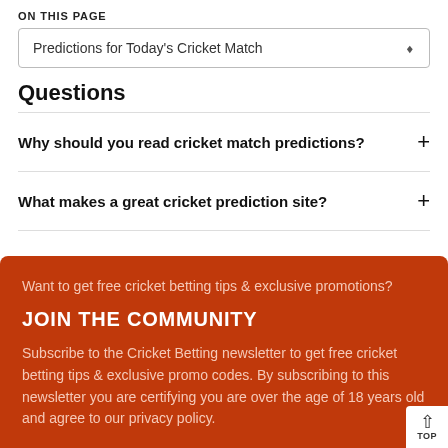ON THIS PAGE
Predictions for Today's Cricket Match
Questions
Why should you read cricket match predictions?
What makes a great cricket prediction site?
Want to get free cricket betting tips & exclusive promotions?
JOIN THE COMMUNITY
Subscribe to the Cricket Betting newsletter to get free cricket betting tips & exclusive promo codes. By subscribing to this newsletter you are certifying you are over the age of 18 years old and agree to our privacy policy.